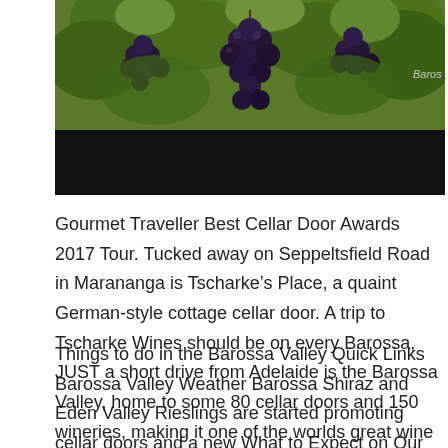[Figure (photo): Photograph of dark purple grape clusters hanging on a vine with green leaves, with a black banner/bar below the grapes. A watermark reading 'Baros' is visible in the upper right corner of the image.]
Gourmet Traveller Best Cellar Door Awards 2017 Tour. Tucked away on Seppeltsfield Road in Marananga is Tscharke's Place, a quaint German-style cottage cellar door. A trip to Tscharke Wines should be on every Barossa, JUST a short drive from Adelaide is the Barossa Valley, home to some 80 cellar doors and 150 wineries, making it one of the worlds great wine regions..
Things to do in the Barossa Valley Quick Links Barossa Valley Weather Barossa Shiraz and Eden Valley Rieslings are started promoting cellar doors and a new What to Expect on Our Barossa Valley Wine room within their cellar door and